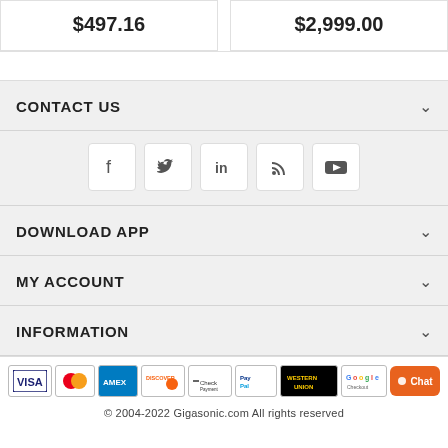| $497.16 | $2,999.00 |
CONTACT US
[Figure (other): Social media icons row: Facebook, Twitter, LinkedIn, RSS, YouTube]
DOWNLOAD APP
MY ACCOUNT
INFORMATION
[Figure (other): Payment method logos: VISA, Mastercard, American Express, Discover, Check Payment, PayPal, Western Union, Google Checkout]
© 2004-2022 Gigasonic.com All rights reserved